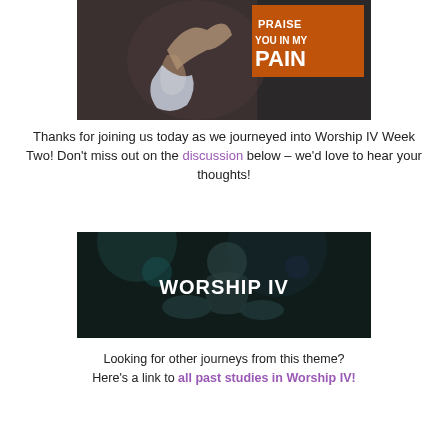[Figure (photo): Person with hands on head in distress against dark background, with orange text overlay reading 'PRAISE YOU IN MY PAIN']
Thanks for joining us today as we journeyed into Worship IV Week Two! Don't miss out on the discussion below – we'd love to hear your thoughts!
[Figure (photo): Dark image of a drummer/musician on stage with white text overlay reading 'WORSHIP IV']
Looking for other journeys from this theme? Here's a link to all past studies in Worship IV!